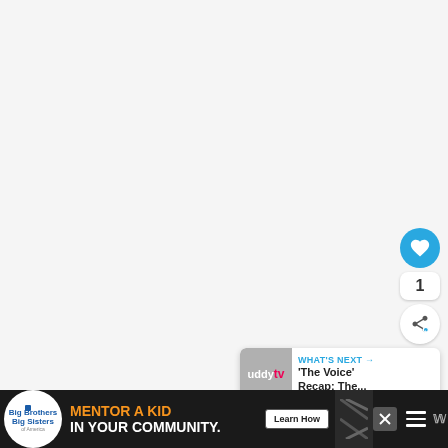[Figure (screenshot): Large white/light gray content area (main article or video area), mostly blank/white]
[Figure (screenshot): Circular blue like/heart button with heart icon]
1
[Figure (screenshot): White circular share button with share icon]
[Figure (screenshot): What's Next panel: thumbnail of 'buddytv' logo with text "WHAT'S NEXT → 'The Voice' Recap: The..."]
[Figure (screenshot): Advertisement banner: Big Brothers Big Sisters logo. Text: MENTOR A KID IN YOUR COMMUNITY. Learn How button. Close button. Navigation icons.]